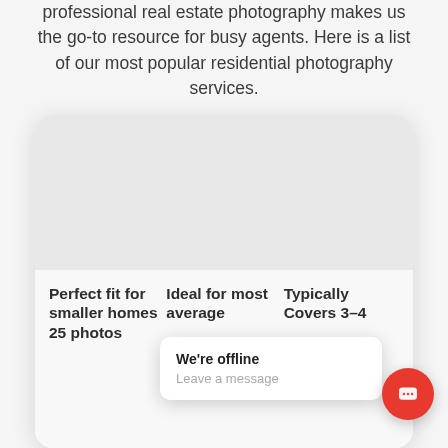professional real estate photography makes us the go-to resource for busy agents. Here is a list of our most popular residential photography services.
[Figure (other): A card UI element with an image area on top (placeholder grey) and three columns of bold text below: 'Perfect fit for smaller homes 25 photos', 'Ideal for most average', 'Typically Covers 3-4']
We're offline
Leave a message